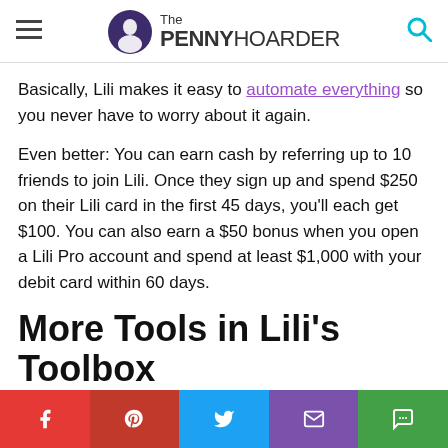The PENNY HOARDER
Basically, Lili makes it easy to automate everything so you never have to worry about it again.
Even better: You can earn cash by referring up to 10 friends to join Lili. Once they sign up and spend $250 on their Lili card in the first 45 days, you’ll each get $100. You can also earn a $50 bonus when you open a Lili Pro account and spend at least $1,000 with your debit card within 60 days.
More Tools in Lili’s Toolbox
We freelancers need all the help we can get, you know? Luckily, Lili has more tools in its toolbox for us.
Facebook Pinterest Twitter Email Message